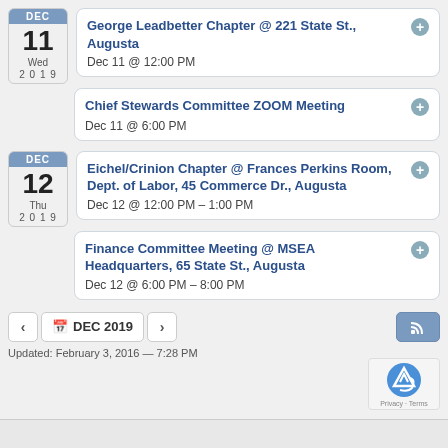George Leadbetter Chapter @ 221 State St., Augusta — Dec 11 @ 12:00 PM
Chief Stewards Committee ZOOM Meeting — Dec 11 @ 6:00 PM
Eichel/Crinion Chapter @ Frances Perkins Room, Dept. of Labor, 45 Commerce Dr., Augusta — Dec 12 @ 12:00 PM – 1:00 PM
Finance Committee Meeting @ MSEA Headquarters, 65 State St., Augusta — Dec 12 @ 6:00 PM – 8:00 PM
Updated: February 3, 2016 — 7:28 PM